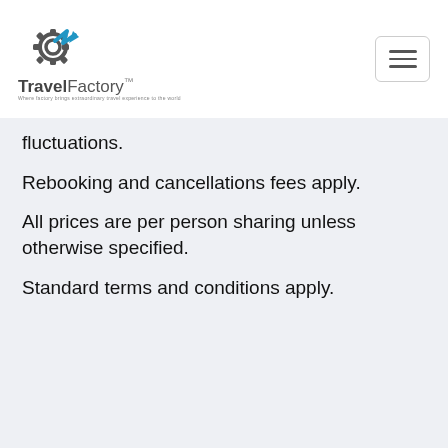[Figure (logo): TravelFactory logo with gear and lightning bolt icon, text 'TravelFactory' and tagline below]
fluctuations.
Rebooking and cancellations fees apply.
All prices are per person sharing unless otherwise specified.
Standard terms and conditions apply.